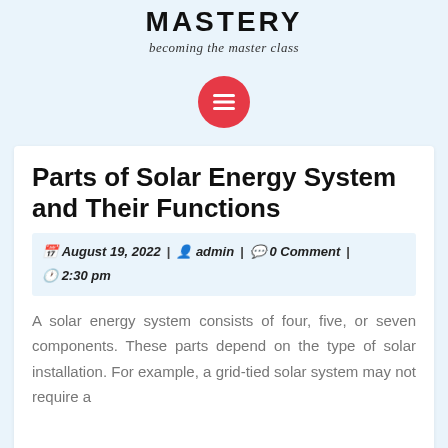MASTERY
becoming the master class
[Figure (other): Red circular menu button icon with three horizontal white lines (hamburger menu icon)]
Parts of Solar Energy System and Their Functions
August 19, 2022 | admin | 0 Comment | 2:30 pm
A solar energy system consists of four, five, or seven components. These parts depend on the type of solar installation. For example, a grid-tied solar system may not require a